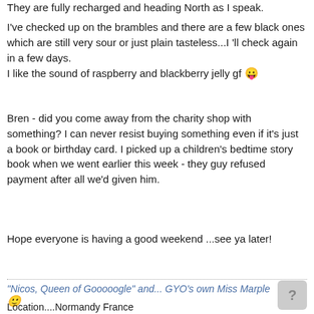They are fully recharged and heading North as I speak.
I've checked up on the brambles and there are a few black ones which are still very sour or just plain tasteless...I 'll check again in a few days.
I like the sound of raspberry and blackberry jelly gf 😛
Bren - did you come away from the charity shop with something? I can never resist buying something even if it's just a book or birthday card. I picked up a children's bedtime story book when we went earlier this week - they guy refused payment after all we'd given him.
Hope everyone is having a good weekend ...see ya later!
"Nicos, Queen of Gooooogle" and... GYO's own Miss Marple 🙂
Location....Normandy France